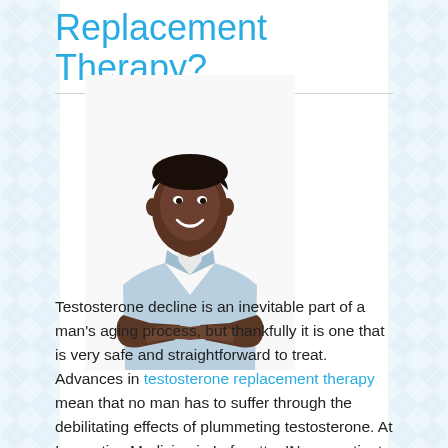Replacement Therapy?
[Figure (photo): Man with arms crossed smiling, wearing a light blue denim shirt, on white background]
Testosterone decline is an inevitable part of a man's aging process, but thankfully it is one that is very safe and straightforward to treat. Advances in testosterone replacement therapy mean that no man has to suffer through the debilitating effects of plummeting testosterone. At Innovative Medicine in Lafayette, IN, our patients receive the very latest